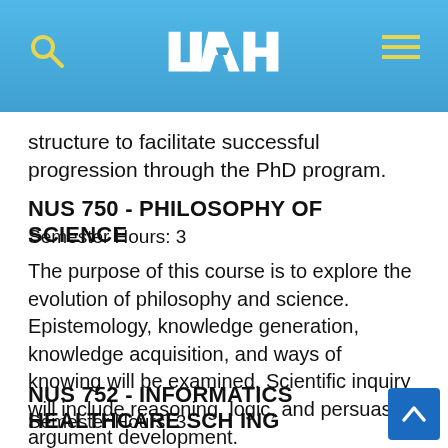UAH
structure to facilitate successful progression through the PhD program.
NUS 750 - PHILOSOPHY OF SCIENCE
Semester Hours: 3
The purpose of this course is to explore the evolution of philosophy and science. Epistemology, knowledge generation, knowledge acquisition, and ways of knowing will be examined. Scientific inquiry will include reasoning, logic, and persuasive argument development.
NUS 752 - INFORMATICS HEALTHCARE SCH ING
Semester Hours: 3